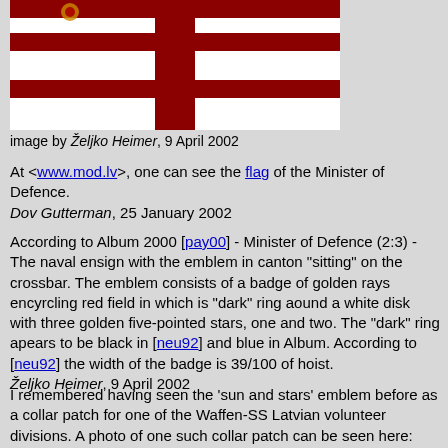[Figure (illustration): Flag of Latvia Minister of Defence showing a white background with a dark red/maroon cross pattern, with a small emblem visible in the upper left canton area.]
image by Željko Heimer, 9 April 2002
At <www.mod.lv>, one can see the flag of the Minister of Defence.
Dov Gutterman, 25 January 2002
According to Album 2000 [pay00] - Minister of Defence (2:3) - The naval ensign with the emblem in canton "sitting" on the crossbar. The emblem consists of a badge of golden rays encyrcling red field in which is "dark" ring aound a white disk with three golden five-pointed stars, one and two. The "dark" ring apears to be black in [neu92] and blue in Album. According to [neu92] the width of the badge is 39/100 of hoist.
Željko Heimer, 9 April 2002
I remembered having seen the 'sun and stars' emblem before as a collar patch for one of the Waffen-SS Latvian volunteer divisions. A photo of one such collar patch can be seen here: